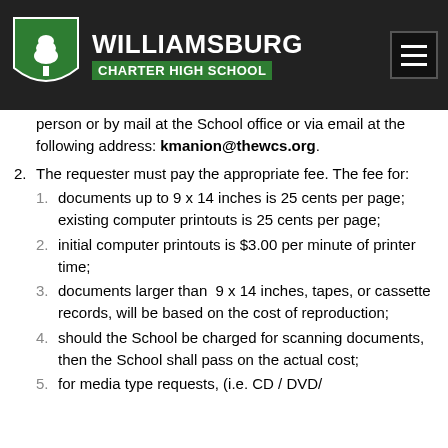In order to request records, the requestor must inspect or secure copies of the records from the Records Access Officer, in writing, either in person or by mail at the School office or via email at the following address: kmanion@thewcs.org.
[Figure (logo): Williamsburg Charter High School logo: green shield with tree icon, school name in white on dark background, with hamburger menu icon]
The requester must pay the appropriate fee. The fee for:
documents up to 9 x 14 inches is 25 cents per page; existing computer printouts is 25 cents per page;
initial computer printouts is $3.00 per minute of printer time;
documents larger than  9 x 14 inches, tapes, or cassette records, will be based on the cost of reproduction;
should the School be charged for scanning documents, then the School shall pass on the actual cost;
for media type requests, (i.e. CD / DVD/